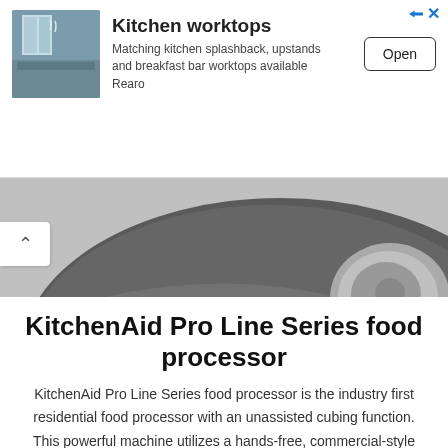[Figure (other): Advertisement banner for kitchen worktops with photo of kitchen, text about matching kitchen splashback, upstands and breakfast bar worktops available from Rearo, with an Open button]
[Figure (photo): Close-up photo of the top of a KitchenAid Pro Line Series food processor lid, dark metallic gray with curved scratch marks and a silver mixing bowl attachment visible]
KitchenAid Pro Line Series food processor
KitchenAid Pro Line Series food processor is the industry first residential food processor with an unassisted cubing function. This powerful machine utilizes a hands-free, commercial-style
READ MORE